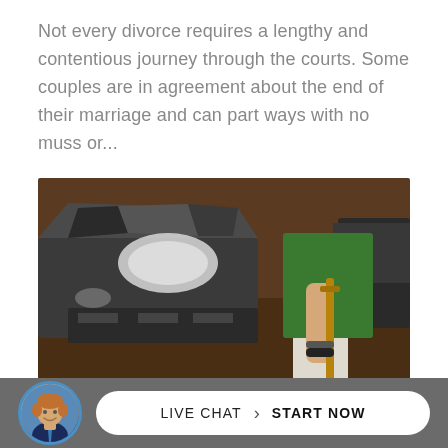Not every divorce requires a lengthy and contentious journey through the courts. Some couples are in agreement about the end of their marriage and can part ways with no muss or...
[Figure (photo): Person holding a wooden crutch, wearing a green t-shirt and khaki shorts, standing near a severely damaged/wrecked car on a dark surface, suggesting a personal injury scenario.]
[Figure (photo): Live chat widget bar at bottom with a smiling man avatar in a blue-bordered circle, and a white pill-shaped button reading 'LIVE CHAT › START NOW' on a gray background.]